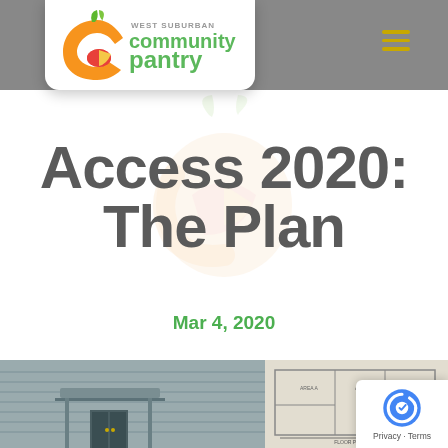[Figure (logo): West Suburban Community Pantry logo with orange C and fruit inside, green leaf on top, text 'community pantry' in green]
Access 2020: The Plan
Mar 4, 2020
[Figure (photo): Bottom strip showing a building exterior with metal siding and canopy on the left, and what appears to be a floor plan drawing on the right]